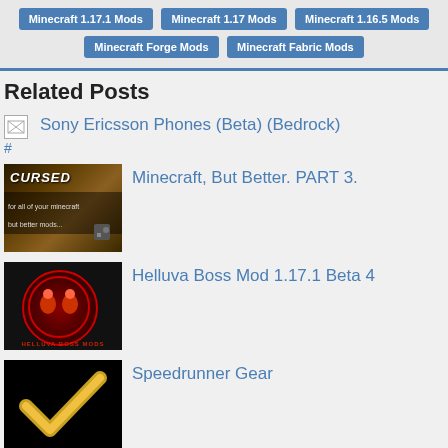Minecraft 1.17.1 Mods
Minecraft 1.17 Mods
Minecraft 1.16.5 Mods
Minecraft Forge Mods
Minecraft Fabric Mods
Related Posts
[Figure (other): Broken image placeholder for Sony Ericsson Phones (Beta) (Bedrock) post]
Sony Ericsson Phones (Beta) (Bedrock)
[Figure (photo): Thumbnail for Minecraft, But Better. PART 3. showing cursed Minecraft mod imagery with text 'CURSED' and description text]
Minecraft, But Better. PART 3.
[Figure (photo): Thumbnail for Helluva Boss Mod 1.17.1 Beta 4 showing red glowing circle logo on dark background with text HELLUVA BOSS MODS]
Helluva Boss Mod 1.17.1 Beta 4
[Figure (photo): Thumbnail for Speedrunner Gear showing a golden checkmark on black background]
Speedrunner Gear